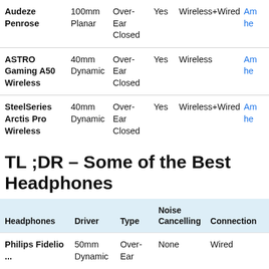| Headphones | Driver | Type | Noise Cancelling | Connection |  |
| --- | --- | --- | --- | --- | --- |
| Audeze Penrose | 100mm Planar | Over-Ear Closed | Yes | Wireless+Wired | Am... he... |
| ASTRO Gaming A50 Wireless | 40mm Dynamic | Over-Ear Closed | Yes | Wireless | Am... he... |
| SteelSeries Arctis Pro Wireless | 40mm Dynamic | Over-Ear Closed | Yes | Wireless+Wired | Am... he... |
TL ;DR – Some of the Best Headphones
| Headphones | Driver | Type | Noise Cancelling | Connection |
| --- | --- | --- | --- | --- |
| Philips Fidelio... | 50mm Dynamic | Over-Ear... | None | Wired |